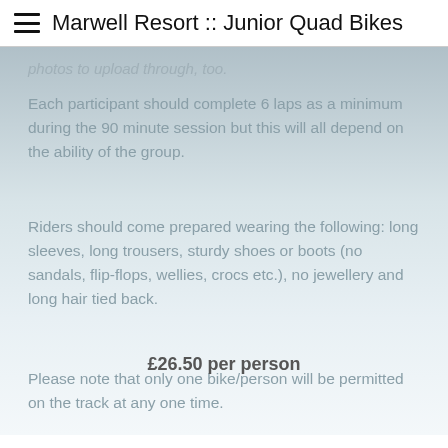Marwell Resort :: Junior Quad Bikes
photos to upload through, too.
Each participant should complete 6 laps as a minimum during the 90 minute session but this will all depend on the ability of the group.
Riders should come prepared wearing the following: long sleeves, long trousers, sturdy shoes or boots (no sandals, flip-flops, wellies, crocs etc.), no jewellery and long hair tied back.
Please note that only one bike/person will be permitted on the track at any one time.
£26.50 per person